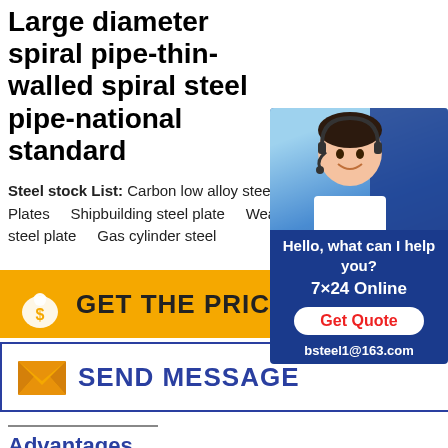Large diameter spiral pipe-thin-walled spiral steel pipe-national standard
Steel stock List: Carbon low alloy steel Plates    Shipbuilding steel plate    Weathering steel plate    Gas cylinder steel
[Figure (photo): Customer service representative with headset, chat widget with 'Hello, what can I help you?', '7×24 Online', 'Get Quote' button, and 'bsteel1@163.com']
[Figure (other): GET THE PRICE button with money bag icon, golden/yellow background]
[Figure (other): SEND MESSAGE button with envelope icon, white background with blue border]
Advantages
Thickness:1.2-600mm
Width:1220-4200mm